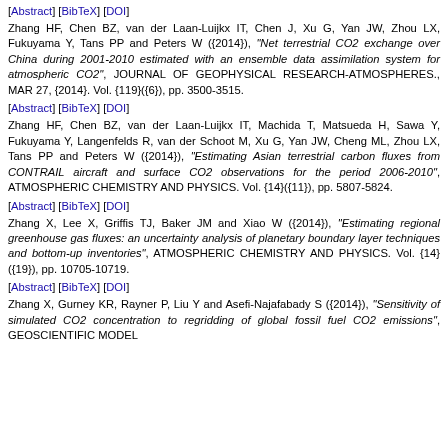[Abstract] [BibTeX] [DOI]
Zhang HF, Chen BZ, van der Laan-Luijkx IT, Chen J, Xu G, Yan JW, Zhou LX, Fukuyama Y, Tans PP and Peters W ({2014}), "Net terrestrial CO2 exchange over China during 2001-2010 estimated with an ensemble data assimilation system for atmospheric CO2", JOURNAL OF GEOPHYSICAL RESEARCH-ATMOSPHERES., MAR 27, {2014}. Vol. {119}({6}), pp. 3500-3515.
[Abstract] [BibTeX] [DOI]
Zhang HF, Chen BZ, van der Laan-Luijkx IT, Machida T, Matsueda H, Sawa Y, Fukuyama Y, Langenfelds R, van der Schoot M, Xu G, Yan JW, Cheng ML, Zhou LX, Tans PP and Peters W ({2014}), "Estimating Asian terrestrial carbon fluxes from CONTRAIL aircraft and surface CO2 observations for the period 2006-2010", ATMOSPHERIC CHEMISTRY AND PHYSICS. Vol. {14}({11}), pp. 5807-5824.
[Abstract] [BibTeX] [DOI]
Zhang X, Lee X, Griffis TJ, Baker JM and Xiao W ({2014}), "Estimating regional greenhouse gas fluxes: an uncertainty analysis of planetary boundary layer techniques and bottom-up inventories", ATMOSPHERIC CHEMISTRY AND PHYSICS. Vol. {14}({19}), pp. 10705-10719.
[Abstract] [BibTeX] [DOI]
Zhang X, Gurney KR, Rayner P, Liu Y and Asefi-Najafabady S ({2014}), "Sensitivity of simulated CO2 concentration to regridding of global fossil fuel CO2 emissions", GEOSCIENTIFIC MODEL